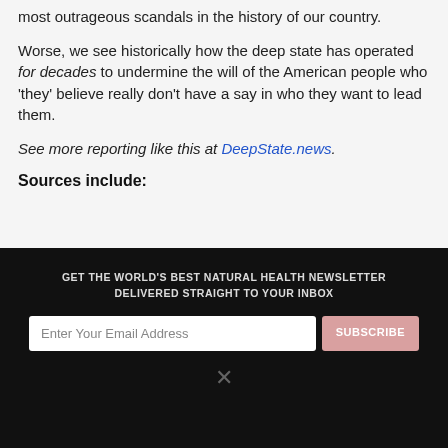most outrageous scandals in the history of our country.
Worse, we see historically how the deep state has operated for decades to undermine the will of the American people who ‘they’ believe really don’t have a say in who they want to lead them.
See more reporting like this at DeepState.news.
Sources include:
[Figure (screenshot): Dark newsletter signup section with email input and subscribe button, overlaid by a cookie consent popup dialog stating 'BY CONTINUING TO BROWSE OUR SITE YOU AGREE TO OUR USE OF COOKIES AND OUR PRIVACY POLICY.' with an 'Agree and close' button.]